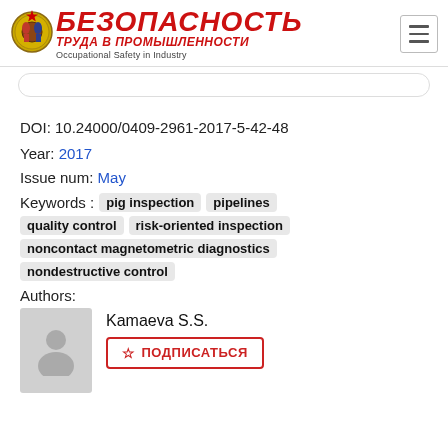БЕЗОПАСНОСТЬ ТРУДА В ПРОМЫШЛЕННОСТИ — Occupational Safety in Industry
DOI: 10.24000/0409-2961-2017-5-42-48
Year: 2017
Issue num: May
Keywords: pig inspection  pipelines  quality control  risk-oriented inspection  noncontact magnetometric diagnostics  nondestructive control
Authors:
Kamaeva S.S.